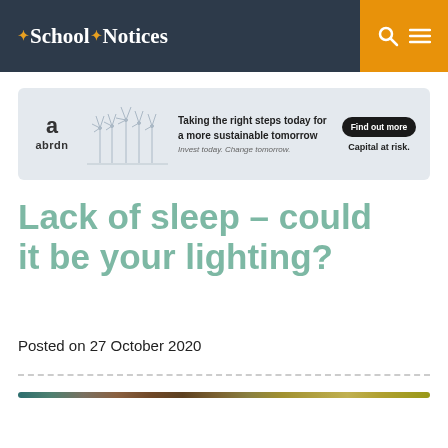School Notices
[Figure (other): abrdn advertisement banner: 'Taking the right steps today for a more sustainable tomorrow. Invest today. Change tomorrow. Find out more. Capital at risk.' with windmill silhouettes.]
Lack of sleep – could it be your lighting?
Posted on 27 October 2020